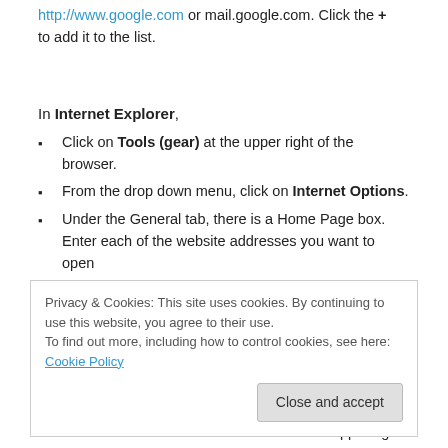http://www.google.com or mail.google.com. Click the + to add it to the list.
In Internet Explorer,
Click on Tools (gear) at the upper right of the browser.
From the drop down menu, click on Internet Options.
Under the General tab, there is a Home Page box. Enter each of the website addresses you want to open
Privacy & Cookies: This site uses cookies. By continuing to use this website, you agree to their use. To find out more, including how to control cookies, see here: Cookie Policy
Click on the three horizontal lines at the upper right